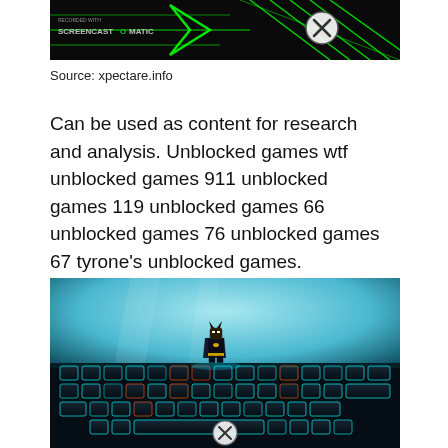[Figure (screenshot): Screenshot of a dark gaming-themed graphic with green neon lines and an X close button, watermarked with Screencast-O-Matic branding.]
Source: xpectare.info
Can be used as content for research and analysis. Unblocked games wtf unblocked games 911 unblocked games 119 unblocked games 66 unblocked games 76 unblocked games 67 tyrone's unblocked games.
[Figure (photo): Photo of a mechanical keyboard with cyan/teal RGB lighting and a LEGO Batman figure standing on the keys, with a blurred blue background. An X close button overlay is visible at the bottom center.]